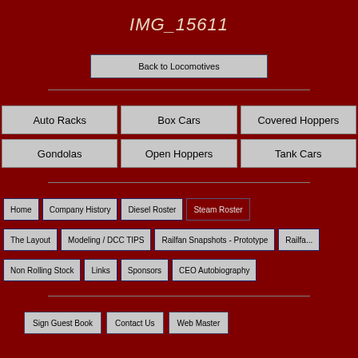IMG_15611
Back to Locomotives
Auto Racks
Box Cars
Covered Hoppers
Gondolas
Open Hoppers
Tank Cars
Home
Company History
Diesel Roster
Steam Roster
The Layout
Modeling / DCC TIPS
Railfan Snapshots - Prototype
Railfa...
Non Rolling Stock
Links
Sponsors
CEO Autobiography
Sign Guest Book
Contact Us
Web Master